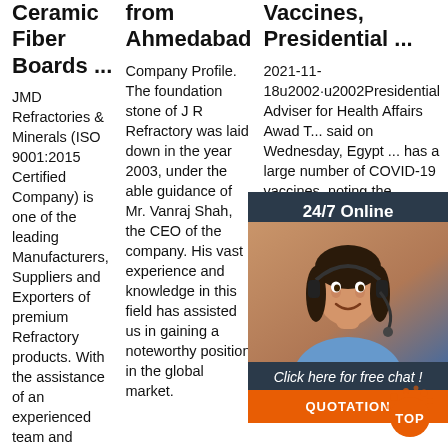Ceramic Fiber Boards ...
JMD Refractories & Minerals (ISO 9001:2015 Certified Company) is one of the leading Manufacturers, Suppliers and Exporters of premium Refractory products. With the assistance of an experienced team and sound infrastructure, we provide high performance Insulating Bricks, Refractory Fire ...
from Ahmedabad
Company Profile. The foundation stone of J R Refractory was laid down in the year 2003, under the able guidance of Mr. Vanraj Shah, the CEO of the company. His vast experience and knowledge in this field has assisted us in gaining a noteworthy position in the global market.
Vaccines, Presidential ...
2021-11-18u2002·u2002Presidential Adviser for Health Affairs Awad T... said on Wednesday, Egypt ... has a large number of COVID-19 vaccines, noting the Egyptian government has allocated all the necessary funds to obtained the vaccines.
[Figure (illustration): Chat widget overlay with a woman wearing a headset, dark background, showing '24/7 Online' header, 'Click here for free chat!' text, and an orange QUOTATION button.]
[Figure (illustration): Orange 'TOP' button with decorative dots, for scrolling to the top of the page.]